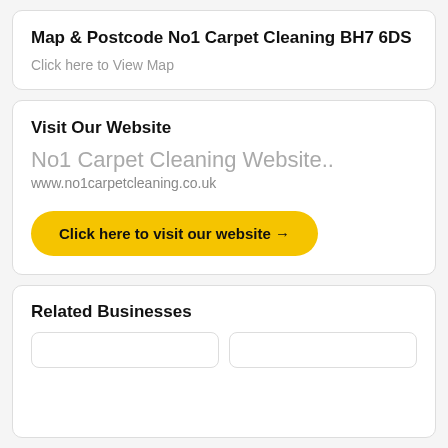Map & Postcode No1 Carpet Cleaning BH7 6DS
Click here to View Map
Visit Our Website
No1 Carpet Cleaning Website..
www.no1carpetcleaning.co.uk
Click here to visit our website →
Related Businesses